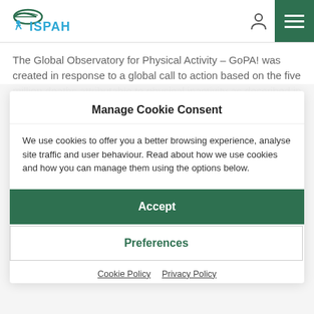ISPAH
The Global Observatory for Physical Activity – GoPA! was created in response to a global call to action based on the five million deaths attributable to physical inactivity as described in the 2012 Lancet
Manage Cookie Consent
We use cookies to offer you a better browsing experience, analyse site traffic and user behaviour. Read about how we use cookies and how you can manage them using the options below.
Accept
Preferences
Cookie Policy  Privacy Policy